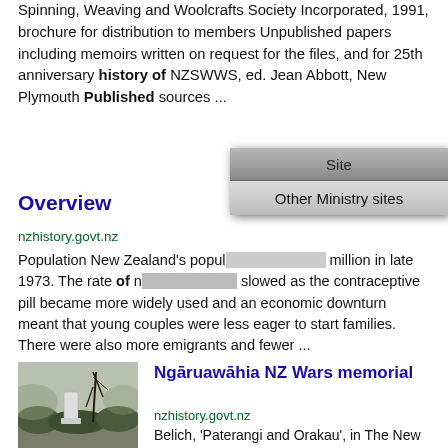Spinning, Weaving and Woolcrafts Society Incorporated, 1991, brochure for distribution to members Unpublished papers including memoirs written on request for the files, and for 25th anniversary history of NZSWWS, ed. Jean Abbott, New Plymouth Published sources ...
Overview
nzhistory.govt.nz
Population New Zealand's population reached 3 million in late 1973. The rate of natural increase slowed as the contraceptive pill became more widely used and an economic downturn meant that young couples were less eager to start families. There were also more emigrants and fewer ...
[Figure (screenshot): Dropdown menu overlay showing 'Site' tab and 'Other Ministry sites' option]
Ngāruawāhia NZ Wars memorial
nzhistory.govt.nz
[Figure (photo): Black and white photo of a war memorial with trees in background]
Belich, 'Paterangi and Orakau', in The New Zealand Wars and